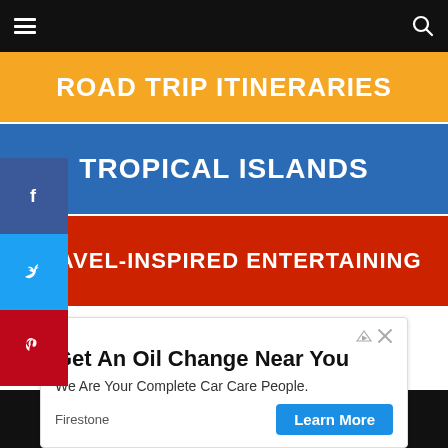ROAD TRIP ITINERARIES
TROPICAL ISLANDS
TRAVEL-INSPIRED ENTERTAINING
PHOTO LICENSING
[Figure (photo): Circular profile photo of a person]
[Figure (infographic): Advertisement: Get An Oil Change Near You - Firestone. We Are Your Complete Car Care People. Learn More button.]